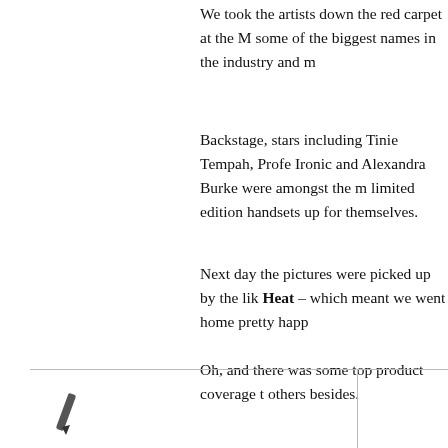We took the artists down the red carpet at the M some of the biggest names in the industry and m
Backstage, stars including Tinie Tempah, Profe Ironic and Alexandra Burke were amongst the m limited edition handsets up for themselves.
Next day the pictures were picked up by the lik Heat – which meant we went home pretty happ
Oh, and there was some top product coverage t others besides.
Tat's a result all round!
[Figure (illustration): Bottom section with horizontal divider line and a pencil/pen icon in the lower left area]